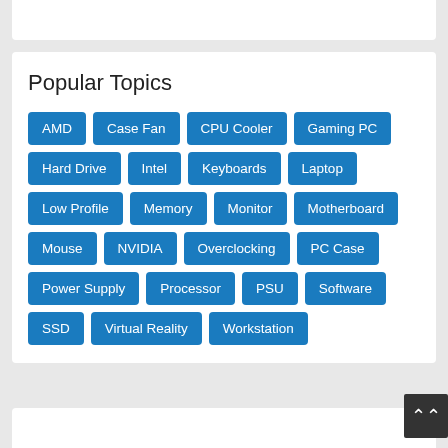Popular Topics
AMD
Case Fan
CPU Cooler
Gaming PC
Hard Drive
Intel
Keyboards
Laptop
Low Profile
Memory
Monitor
Motherboard
Mouse
NVIDIA
Overclocking
PC Case
Power Supply
Processor
PSU
Software
SSD
Virtual Reality
Workstation